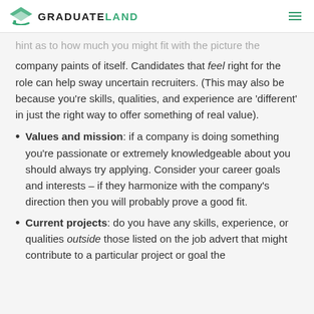GRADUATELAND
hint as to how much you might fit with the picture the company paints of itself. Candidates that feel right for the role can help sway uncertain recruiters. (This may also be because you're skills, qualities, and experience are 'different' in just the right way to offer something of real value).
Values and mission: if a company is doing something you're passionate or extremely knowledgeable about you should always try applying. Consider your career goals and interests – if they harmonize with the company's direction then you will probably prove a good fit.
Current projects: do you have any skills, experience, or qualities outside those listed on the job advert that might contribute to a particular project or goal the